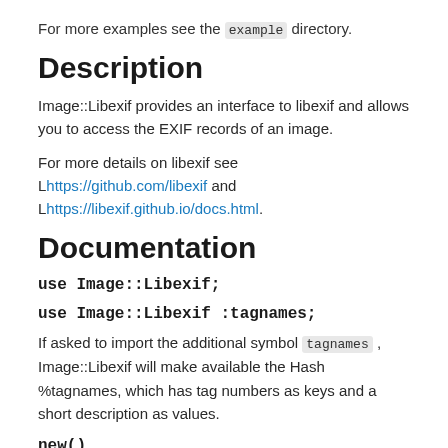For more examples see the example directory.
Description
Image::Libexif provides an interface to libexif and allows you to access the EXIF records of an image.
For more details on libexif see Lhttps://github.com/libexif and Lhttps://libexif.github.io/docs.html.
Documentation
use Image::Libexif;
use Image::Libexif :tagnames;
If asked to import the additional symbol tagnames , Image::Libexif will make available the Hash %tagnames, which has tag numbers as keys and a short description as values.
new()